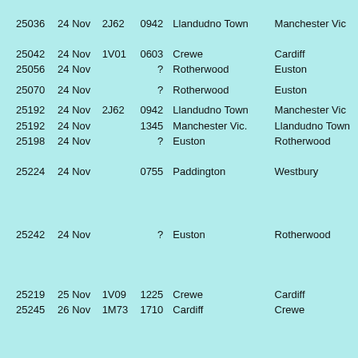| Loco | Date | Code | Time | From | To |
| --- | --- | --- | --- | --- | --- |
| 25036 | 24 Nov | 2J62 | 0942 | Llandudno Town | Manchester Vic |
| 25042 | 24 Nov | 1V01 | 0603 | Crewe | Cardiff |
| 25056 | 24 Nov |  | ? | Rotherwood | Euston |
| 25070 | 24 Nov |  | ? | Rotherwood | Euston |
| 25192 | 24 Nov | 2J62 | 0942 | Llandudno Town | Manchester Vic |
| 25192 | 24 Nov |  | 1345 | Manchester Vic. | Llandudno Town |
| 25198 | 24 Nov |  | ? | Euston | Rotherwood |
| 25224 | 24 Nov |  | 0755 | Paddington | Westbury |
| 25242 | 24 Nov |  | ? | Euston | Rotherwood |
| 25219 | 25 Nov | 1V09 | 1225 | Crewe | Cardiff |
| 25245 | 26 Nov | 1M73 | 1710 | Cardiff | Crewe |